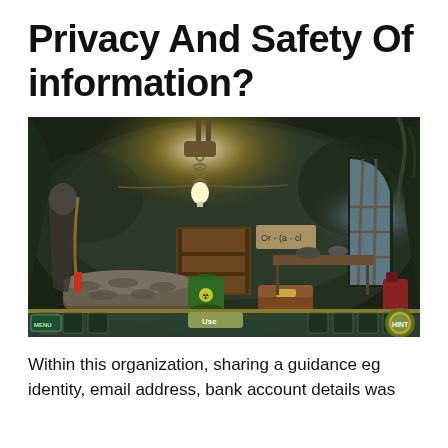Privacy And Safety Of information?
[Figure (screenshot): A dark dungeon/cave scene from a hidden object video game. The interior shows stone walls covered in moss, a hanging light bulb on a chain, a wooden bookshelf, various barrels, a well, a green hazmat barrel, a locked arched window on the right, and a game UI bar at the bottom with MENU button on left and HINT button on right.]
Within this organization, sharing a guidance eg identity, email address, bank account details was